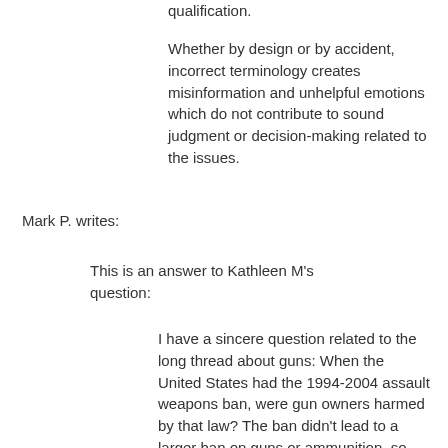qualification.
Whether by design or by accident, incorrect terminology creates misinformation and unhelpful emotions which do not contribute to sound judgment or decision-making related to the issues.
Mark P. writes:
This is an answer to Kathleen M's question:
I have a sincere question related to the long thread about guns: When the United States had the 1994-2004 assault weapons ban, were gun owners harmed by that law? The ban didn't lead to a larger ban on guns or ammunition, so that would seem to negate the slippery slope argument if